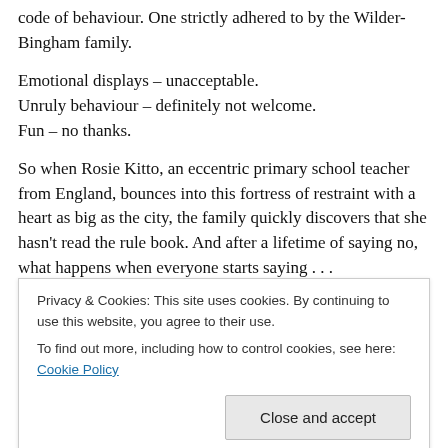code of behaviour. One strictly adhered to by the Wilder-Bingham family.
Emotional displays – unacceptable.
Unruly behaviour – definitely not welcome.
Fun – no thanks.
So when Rosie Kitto, an eccentric primary school teacher from England, bounces into this fortress of restraint with a heart as big as the city, the family quickly discovers that she hasn't read the rule book. And after a lifetime of saying no, what happens when everyone starts saying . . .
Privacy & Cookies: This site uses cookies. By continuing to use this website, you agree to their use.
To find out more, including how to control cookies, see here: Cookie Policy
version of Mary Poppins) but then halfway through a shit